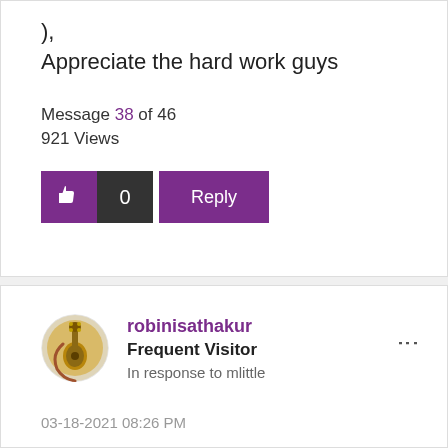),
Appreciate the hard work guys
Message 38 of 46
921 Views
[Figure (other): Like button with thumbs up icon and count 0, and a Reply button, both in purple/dark style]
robinisathakur
Frequent Visitor
In response to mlittle
03-18-2021 08:26 PM